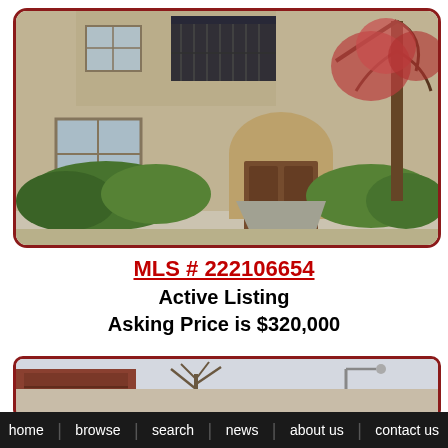[Figure (photo): Front exterior of a two-story stucco condominium building with arched entryway, wood front door, upper balcony with iron railing, and green landscaped shrubs. A large deciduous tree is visible on the right side.]
MLS # 222106654
Active Listing
Asking Price is $320,000
[Figure (photo): Partially visible photo of another property listing showing a garage and bare trees.]
home   browse   search   news   about us   contact us